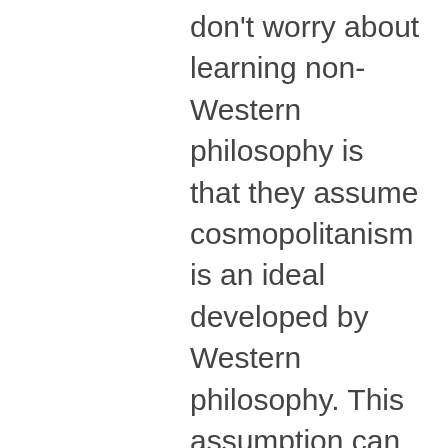don't worry about learning non-Western philosophy is that they assume cosmopolitanism is an ideal developed by Western philosophy. This assumption can create an amazing amount of institutional inertia. Western philosophers assume that the tradition of Plato and Spinoza and Russell just is the cosmopolitan tradition, and that it is up to non-Western traditions to join in with the Enlightenment. In this sense, there's an assumption of inequality between Western and non-Western philosophical